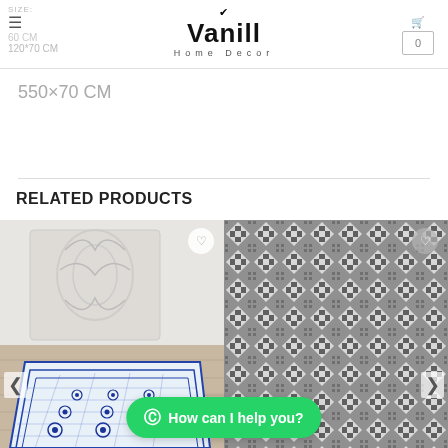Vanill Home Decor - header with logo and cart
550×70 CM
RELATED PRODUCTS
[Figure (photo): Blue and white decorative tile pattern rug on floor]
[Figure (photo): Grey and white geometric pattern rug close-up]